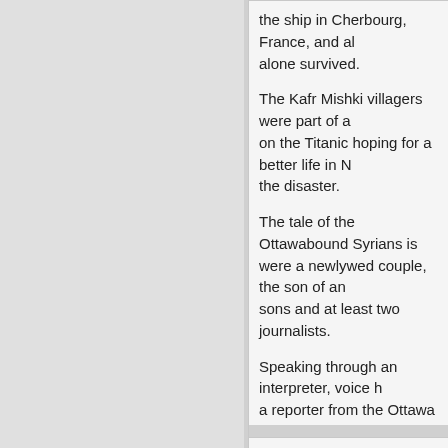the ship in Cherbourg, France, and alone survived.
The Kafr Mishki villagers were part of a on the Titanic hoping for a better life in N the disaster.
The tale of the Ottawabound Syrians is were a newlywed couple, the son of an sons and at least two journalists.
Speaking through an interpreter, voice h a reporter from the Ottawa Evening Citi:
She and her relatives, all travelling in st the iceberg.
“Although it did not seem to be much at us wanted to go up on deck and see wh
They were told that all was well, but beg the water.
[...]
April 10th, 2012, 9:53 pm
TARA said:
Batta needs to pay specials attention to taking good care of her man. Do Homsi lessons. With all the weight loss he sus need to find him a better name. What co